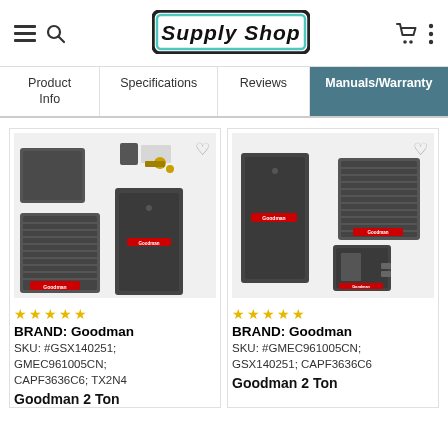Supply Shop — navigation header with hamburger menu, search, cart, and more icons
Product Info | Specifications | Reviews | Manuals/Warranty
[Figure (photo): Goodman HVAC bundle product image 1: outdoor condenser unit, coil, furnace, and accessories]
BRAND: Goodman
SKU: #GSX140251; GMEC961005CN; CAPF3636C6; TX2N4
Goodman 2 Ton
[Figure (photo): Goodman HVAC bundle product image 2: furnace, outdoor condenser, and coil unit]
BRAND: Goodman
SKU: #GMEC961005CN; GSX140251; CAPF3636C6
Goodman 2 Ton